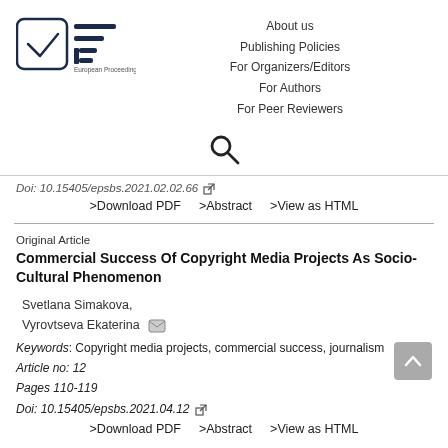[Figure (logo): European Proceedings logo with checkbox icon, horizontal lines, and 'European Proceedings' text]
About us
Publishing Policies
For Organizers/Editors
For Authors
For Peer Reviewers
[Figure (other): Search icon (magnifying glass)]
Doi: 10.15405/epsbs.2021.02.02.66
>Download PDF    >Abstract    >View as HTML
Original Article
Commercial Success Of Copyright Media Projects As Socio-Cultural Phenomenon
Svetlana Simakova,
Vyrovtseva Ekaterina
Keywords: Copyright media projects, commercial success, journalism
Article no: 12
Pages 110-119
Doi: 10.15405/epsbs.2021.04.12
>Download PDF    >Abstract    >View as HTML